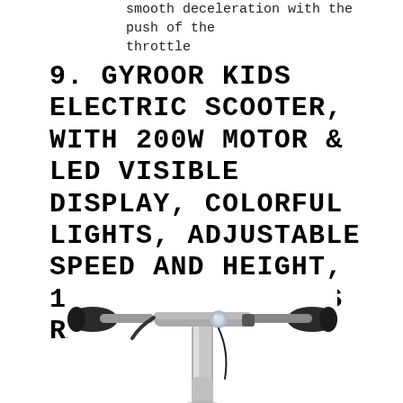Smooth deceleration with the push of the throttle
9. GYROOR KIDS ELECTRIC SCOOTER, WITH 200W MOTOR & LED VISIBLE DISPLAY, COLORFUL LIGHTS, ADJUSTABLE SPEED AND HEIGHT, 10 MPH & 10 MILES RANGE ELECTRIC
[Figure (photo): Close-up photo of electric scooter handlebars with black grips, a bell, and a silver/gray stem visible from above]